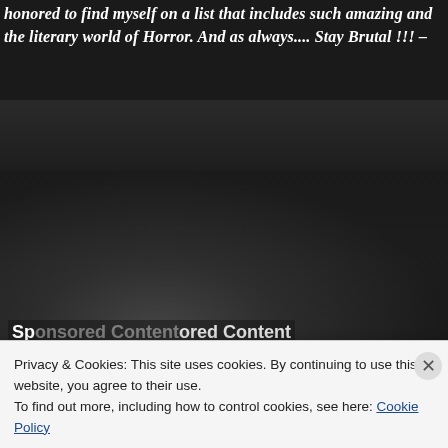honored to find myself on a list that includes such amazing and the literary world of Horror. And as always.... Stay Brutal !!! –
[Figure (photo): Dark black-and-white horror-themed photograph showing what appears to be a figure or person lying down, with blurred and shadowy details. The image occupies the middle section of the page behind the sponsored content label.]
Sponsored Content
Privacy & Cookies: This site uses cookies. By continuing to use this website, you agree to their use.
To find out more, including how to control cookies, see here: Cookie Policy